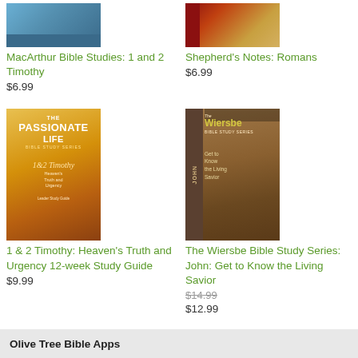[Figure (photo): Book cover for MacArthur Bible Studies: 1 and 2 Timothy - blue tones]
MacArthur Bible Studies: 1 and 2 Timothy
$6.99
[Figure (photo): Book cover for Shepherd's Notes: Romans - red and gold tones]
Shepherd's Notes: Romans
$6.99
[Figure (photo): Book cover for 1 & 2 Timothy: Heaven's Truth and Urgency 12-week Study Guide - The Passionate Life Bible Study Series]
1 & 2 Timothy: Heaven's Truth and Urgency 12-week Study Guide
$9.99
[Figure (photo): Book cover for The Wiersbe Bible Study Series: John: Get to Know the Living Savior]
The Wiersbe Bible Study Series: John: Get to Know the Living Savior
$14.99
$12.99
Olive Tree Bible Apps